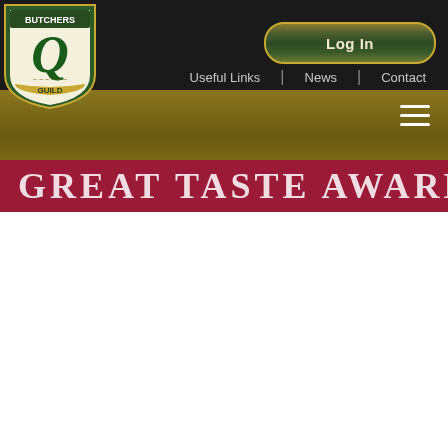[Figure (logo): Q Guild Butchers shield logo with green Q letter, laurel wreath, and 'BUTCHERS GUILD' text on a green and cream shield]
Log In
Useful Links | News | Contact
GREAT TASTE AWARDS